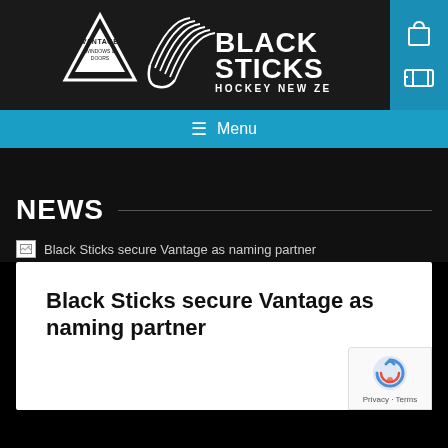[Figure (logo): Vantage Windows & Doors triangle logo combined with Black Sticks Hockey New Zealand logo in white on dark background]
Menu
NEWS
[Figure (photo): Broken image placeholder for Black Sticks secure Vantage as naming partner article thumbnail]
Black Sticks secure Vantage as naming partner